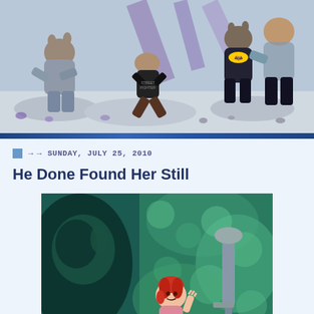[Figure (illustration): Animated or CGI-style action scene showing anthropomorphic animals and characters in fighting poses on a snowy/rocky ground. Characters include animals in costumes, one wearing a Batman-style logo. Purple and white colors dominate the background.]
SUNDAY, JULY 25, 2010
He Done Found Her Still
[Figure (illustration): Comic book or pulp fiction style illustration showing a shadowy figure (left) and a red-haired woman in a cave or grotto setting with teal/green rocky walls and what appears to be a moonshine still in the background.]